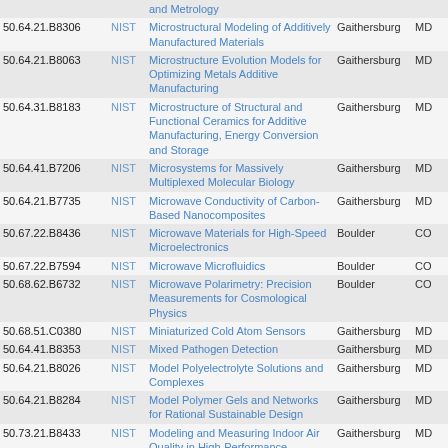| ID | Org | Title | Location | State |
| --- | --- | --- | --- | --- |
|  | NIST | and Metrology |  |  |
| 50.64.21.B8306 | NIST | Microstructural Modeling of Additively Manufactured Materials | Gaithersburg | MD |
| 50.64.21.B8063 | NIST | Microstructure Evolution Models for Optimizing Metals Additive Manufacturing | Gaithersburg | MD |
| 50.64.31.B8183 | NIST | Microstructure of Structural and Functional Ceramics for Additive Manufacturing, Energy Conversion and Storage | Gaithersburg | MD |
| 50.64.41.B7206 | NIST | Microsystems for Massively Multiplexed Molecular Biology | Gaithersburg | MD |
| 50.64.21.B7735 | NIST | Microwave Conductivity of Carbon-Based Nanocomposites | Gaithersburg | MD |
| 50.67.22.B8436 | NIST | Microwave Materials for High-Speed Microelectronics | Boulder | CO |
| 50.67.22.B7594 | NIST | Microwave Microfluidics | Boulder | CO |
| 50.68.62.B6732 | NIST | Microwave Polarimetry: Precision Measurements for Cosmological Physics | Boulder | CO |
| 50.68.51.C0380 | NIST | Miniaturized Cold Atom Sensors | Gaithersburg | MD |
| 50.64.41.B8353 | NIST | Mixed Pathogen Detection | Gaithersburg | MD |
| 50.64.21.B8026 | NIST | Model Polyelectrolyte Solutions and Complexes | Gaithersburg | MD |
| 50.64.21.B8284 | NIST | Model Polymer Gels and Networks for Rational Sustainable Design | Gaithersburg | MD |
| 50.73.21.B8433 | NIST | Modeling and Measuring Indoor Air Quality in High-Performance Buildings | Gaithersburg | MD |
| 50.64.31.C0579 | NIST | Modeling and Simulation in Ceramic Additive Manufacturing | Gaithersburg | MD |
| 50.77.11.B8287 | NIST | Modeling Complex Microstructures | Gaithersburg | MD |
| 50.68.02.B8225 | NIST | Modeling for Quantitative Scanning Electron Microscopy | Gaithersburg | MD |
| 50.64.21.B5614 | NIST | Modeling Metals Deformation at the Nanoscale | Gaithersburg | MD |